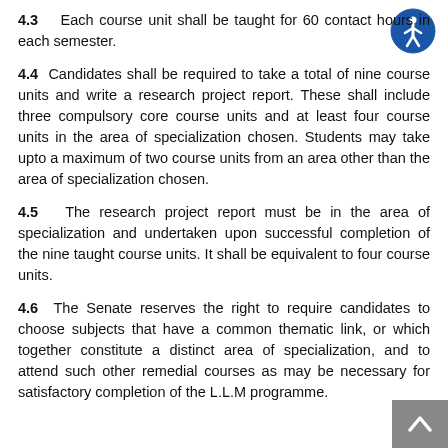4.3   Each course unit shall be taught for 60 contact hours in each semester.
4.4   Candidates shall be required to take a total of nine course units and write a research project report. These shall include three compulsory core course units and at least four course units in the area of specialization chosen. Students may take upto a maximum of two course units from an area other than the area of specialization chosen.
4.5   The research project report must be in the area of specialization and undertaken upon successful completion of the nine taught course units. It shall be equivalent to four course units.
4.6  The Senate reserves the right to require candidates to choose subjects that have a common thematic link, or which together constitute a distinct area of specialization, and to attend such other remedial courses as may be necessary for satisfactory completion of the L.L.M programme.